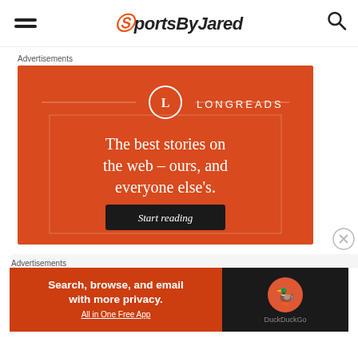SportsByJared
Advertisements
[Figure (infographic): Longreads advertisement. Red background with Longreads logo and tagline: The best stories on the web – ours, and everyone else's. Start reading button.]
Advertisements
[Figure (infographic): DuckDuckGo advertisement. Orange-red background with text: Search, browse, and email with more privacy. All in One Free App. DuckDuckGo logo on dark right side.]